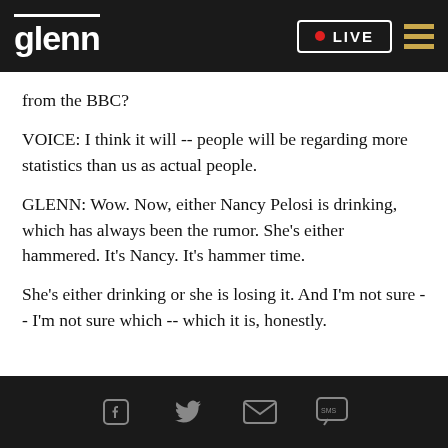glenn  LIVE
from the BBC?
VOICE: I think it will -- people will be regarding more statistics than us as actual people.
GLENN: Wow. Now, either Nancy Pelosi is drinking, which has always been the rumor. She's either hammered. It's Nancy. It's hammer time.
She's either drinking or she is losing it. And I'm not sure -- I'm not sure which -- which it is, honestly.
social icons: Facebook, Twitter, Email, SMS